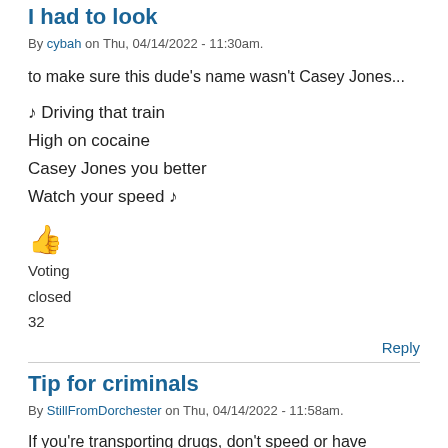I had to look
By cybah on Thu, 04/14/2022 - 11:30am.
to make sure this dude's name wasn't Casey Jones...
♪ Driving that train
High on cocaine
Casey Jones you better
Watch your speed ♪
[Figure (other): Thumbs up emoji]
Voting
closed
32
Reply
Tip for criminals
By StillFromDorchester on Thu, 04/14/2022 - 11:58am.
If you're transporting drugs, don't speed or have outstanding